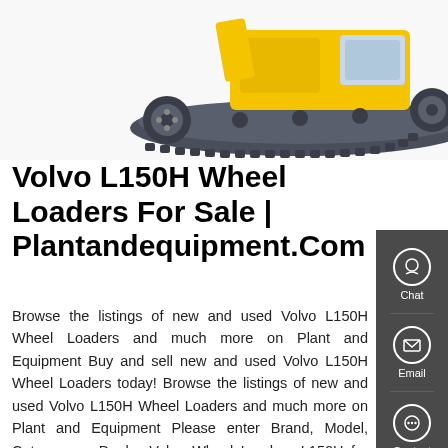[Figure (photo): Volvo L150H wheel loader / amphibious tracked machine photographed from the side showing the undercarriage and tracks]
Volvo L150H Wheel Loaders For Sale | Plantandequipment.Com
Browse the listings of new and used Volvo L150H Wheel Loaders and much more on Plant and Equipment Buy and sell new and used Volvo L150H Wheel Loaders today! Browse the listings of new and used Volvo L150H Wheel Loaders and much more on Plant and Equipment Please enter Brand, Model, Category or Dealer Volvo Wheel Loaders L150H for Sale